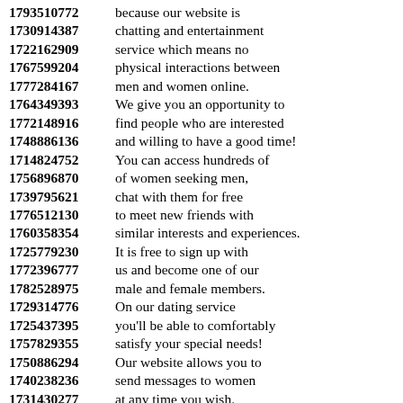1793510772 because our website is
1730914387 chatting and entertainment
1722162909 service which means no
1767599204 physical interactions between
1777284167 men and women online.
1764349393 We give you an opportunity to
1772148916 find people who are interested
1748886136 and willing to have a good time!
1714824752 You can access hundreds of
1756896870 of women seeking men,
1739795621 chat with them for free
1776512130 to meet new friends with
1760358354 similar interests and experiences.
1725779230 It is free to sign up with
1772396777 us and become one of our
1782528975 male and female members.
1729314776 On our dating service
1725437395 you'll be able to comfortably
1757829355 satisfy your special needs!
1750886294 Our website allows you to
1740238236 send messages to women
1731430277 at any time you wish.
1729185658
1772181226 This site is the exclusive
1749295963 for women looking for men